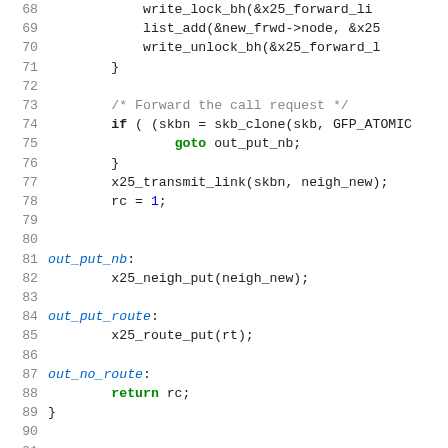[Figure (screenshot): Source code listing showing C code for X.25 network protocol functions, lines 68-94, with syntax highlighting: blue for keywords, green for goto/return/struct keywords, pink for type names, italic blue for labels.]